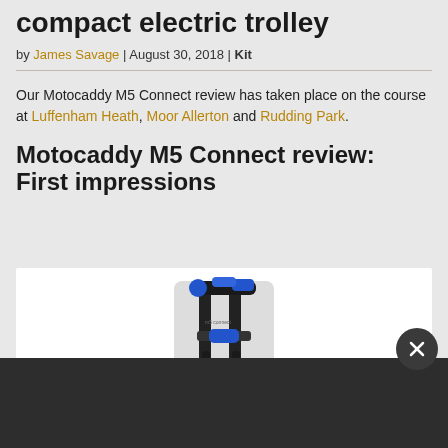compact electric trolley
by James Savage | August 30, 2018 | Kit
Our Motocaddy M5 Connect review has taken place on the course at Luffenham Heath, Moor Allerton and Rudding Park.
Motocaddy M5 Connect review: First impressions
[Figure (photo): Folded Motocaddy M5 Connect electric trolley, black and blue, shown in compact folded position against white background]